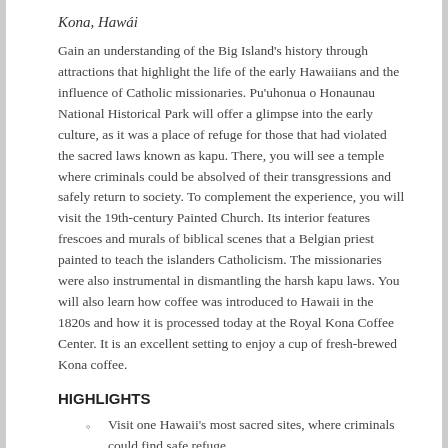Kona, Hawái
Gain an understanding of the Big Island's history through attractions that highlight the life of the early Hawaiians and the influence of Catholic missionaries. Pu'uhonua o Honaunau National Historical Park will offer a glimpse into the early culture, as it was a place of refuge for those that had violated the sacred laws known as kapu. There, you will see a temple where criminals could be absolved of their transgressions and safely return to society. To complement the experience, you will visit the 19th-century Painted Church. Its interior features frescoes and murals of biblical scenes that a Belgian priest painted to teach the islanders Catholicism. The missionaries were also instrumental in dismantling the harsh kapu laws. You will also learn how coffee was introduced to Hawaii in the 1820s and how it is processed today at the Royal Kona Coffee Center. It is an excellent setting to enjoy a cup of fresh-brewed Kona coffee.
HIGHLIGHTS
Visit one Hawaii's most sacred sites, where criminals could find safe refuge.
View the biblical murals and frescoes that adorn the Painted Church.
Enjoy a cup of Kona coffee and learn about its production at a coffee mill.